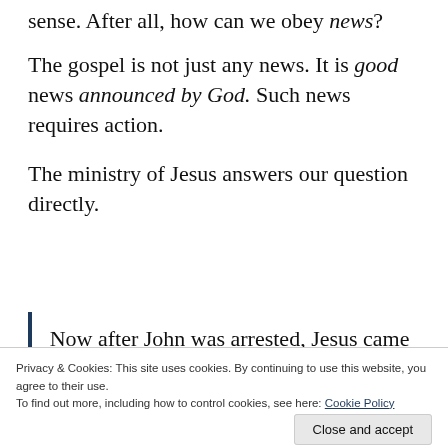sense. After all, how can we obey news?
The gospel is not just any news. It is good news announced by God. Such news requires action.
The ministry of Jesus answers our question directly.
Now after John was arrested, Jesus came into Galilee, proclaiming the
Privacy & Cookies: This site uses cookies. By continuing to use this website, you agree to their use.
To find out more, including how to control cookies, see here: Cookie Policy
Close and accept